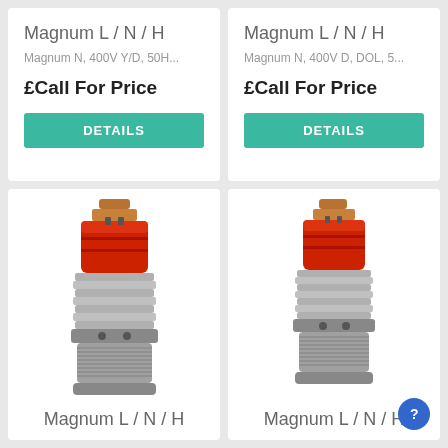Magnum L / N / H
Magnum N, 400V Y/D, 50H...
£Call For Price
DETAILS
Magnum L / N / H
Magnum N, 400V D, DOL, 5...
£Call For Price
DETAILS
[Figure (photo): Submersible pump motor with red top section and silver ribbed body]
Magnum L / N / H
[Figure (photo): Submersible pump motor with red top section and silver ribbed body]
Magnum L / N / H